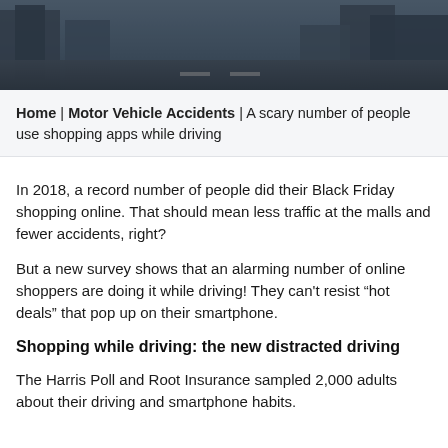[Figure (photo): Hero image of a city street with buildings in the background, overlaid with a dark semi-transparent filter]
Home | Motor Vehicle Accidents | A scary number of people use shopping apps while driving
In 2018, a record number of people did their Black Friday shopping online. That should mean less traffic at the malls and fewer accidents, right?
But a new survey shows that an alarming number of online shoppers are doing it while driving! They can’t resist “hot deals” that pop up on their smartphone.
Shopping while driving: the new distracted driving
The Harris Poll and Root Insurance sampled 2,000 adults about their driving and smartphone habits.